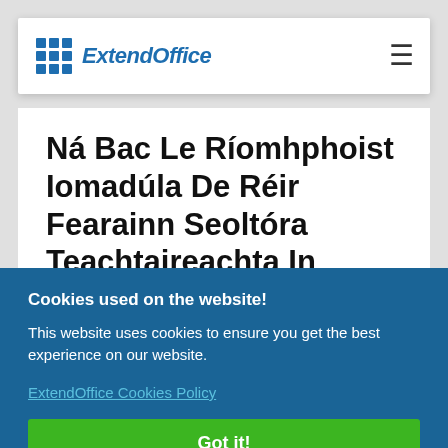[Figure (logo): ExtendOffice logo with blue 3x3 grid icon and italic bold blue text 'ExtendOffice', with hamburger menu icon on the right]
Ná Bac Le Ríomhphoist Iomadúla De Réir Fearainn Seoltóra Teachtaireachta In
Cookies used on the website!
This website uses cookies to ensure you get the best experience on our website.
ExtendOffice Cookies Policy
Got it!